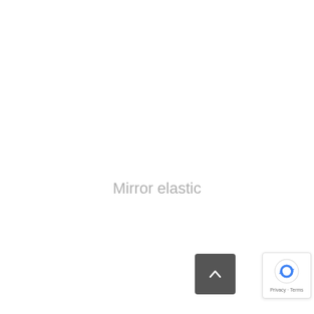Mirror elastic
[Figure (other): Dark grey rounded back-to-top button with upward chevron arrow]
[Figure (other): Google reCAPTCHA badge with spinning arrows logo and Privacy · Terms text]